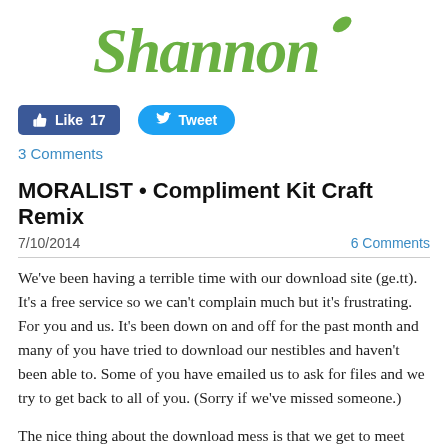[Figure (logo): Shannon script logo in green cursive with a small green leaf accent]
[Figure (infographic): Facebook Like button showing 17 likes and Twitter Tweet button]
3 Comments
MORALIST • Compliment Kit Craft Remix
7/10/2014   6 Comments
We've been having a terrible time with our download site (ge.tt). It's a free service so we can't complain much but it's frustrating. For you and us. It's been down on and off for the past month and many of you have tried to download our nestibles and haven't been able to. Some of you have emailed us to ask for files and we try to get back to all of you. (Sorry if we've missed someone.)
The nice thing about the download mess is that we get to meet some of you, Nesties, through email. One such person is Janelle J. She emailed about some files and said she was doing them for YM. She